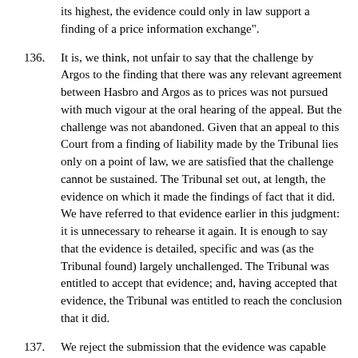its highest, the evidence could only in law support a finding of a price information exchange".
136. It is, we think, not unfair to say that the challenge by Argos to the finding that there was any relevant agreement between Hasbro and Argos as to prices was not pursued with much vigour at the oral hearing of the appeal. But the challenge was not abandoned. Given that an appeal to this Court from a finding of liability made by the Tribunal lies only on a point of law, we are satisfied that the challenge cannot be sustained. The Tribunal set out, at length, the evidence on which it made the findings of fact that it did. We have referred to that evidence earlier in this judgment: it is unnecessary to rehearse it again. It is enough to say that the evidence is detailed, specific and was (as the Tribunal found) largely unchallenged. The Tribunal was entitled to accept that evidence; and, having accepted that evidence, the Tribunal was entitled to reach the conclusion that it did.
137. We reject the submission that the evidence was capable only of supporting a finding that there was a price information exchange. On the findings of fact made by the Tribunal, the assurances given by Argos to Hasbro went beyond the exchange of price information. The submission overlooks, as it seems to us, the finding at paragraph 516 of the Tribunal's judgment that, although "It is true that there was no...